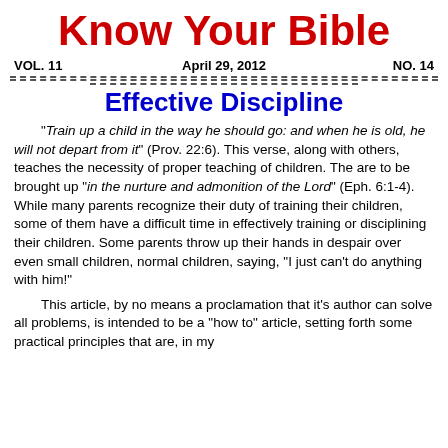Know Your Bible
VOL. 11    April 29, 2012    NO. 14
Effective Discipline
"Train up a child in the way he should go: and when he is old, he will not depart from it" (Prov. 22:6). This verse, along with others, teaches the necessity of proper teaching of children. The are to be brought up "in the nurture and admonition of the Lord" (Eph. 6:1-4). While many parents recognize their duty of training their children, some of them have a difficult time in effectively training or disciplining their children. Some parents throw up their hands in despair over even small children, normal children, saying, "I just can't do anything with him!"
This article, by no means a proclamation that it's author can solve all problems, is intended to be a "how to" article, setting forth some practical principles that are, in my